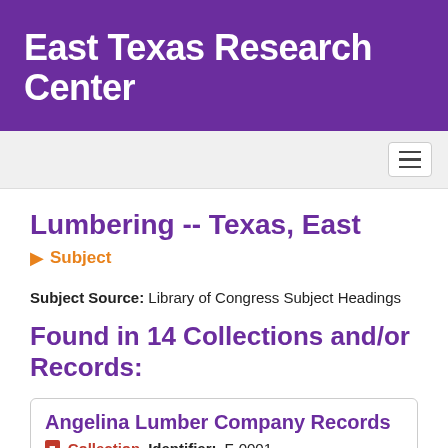East Texas Research Center
Lumbering -- Texas, East
Subject
Subject Source: Library of Congress Subject Headings
Found in 14 Collections and/or Records:
Angelina Lumber Company Records
Collection  Identifier: F-0001